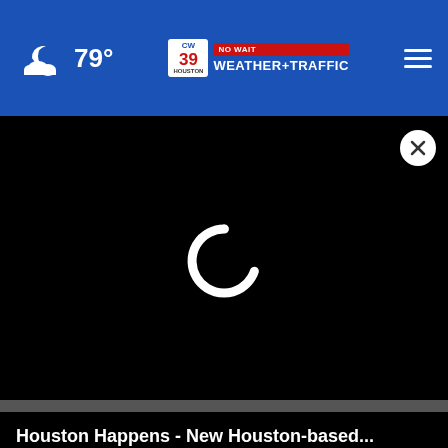79° CW39 HOUSTON NO WAIT WEATHER+TRAFFIC
[Figure (screenshot): Black video player area with a loading spinner (partial white arc) in the center and a circular close button (X) in the upper right corner]
Houston Happens - New Houston-based...